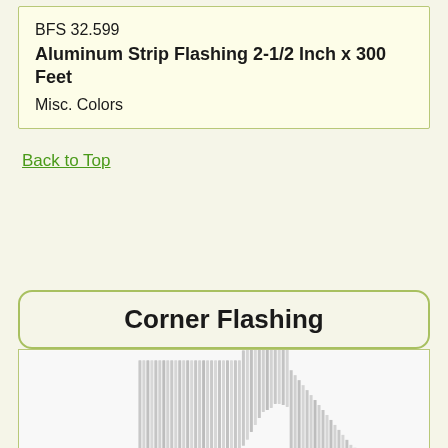BFS 32.599
Aluminum Strip Flashing 2-1/2 Inch x 300 Feet
Misc. Colors
Back to Top
Corner Flashing
[Figure (photo): Stack of aluminum corner flashing pieces, showing corrugated metallic strips arranged in a fan/corner shape, silver colored metal.]